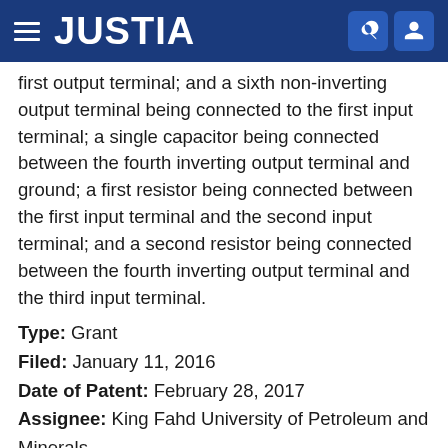JUSTIA
first output terminal; and a sixth non-inverting output terminal being connected to the first input terminal; a single capacitor being connected between the fourth inverting output terminal and ground; a first resistor being connected between the first input terminal and the second input terminal; and a second resistor being connected between the fourth inverting output terminal and the third input terminal.
Type: Grant
Filed: January 11, 2016
Date of Patent: February 28, 2017
Assignee: King Fahd University of Petroleum and Minerals
Inventor: Hussain Abdullah Alzaher
Communications system density and range improvement by signal-strength-directed channel class